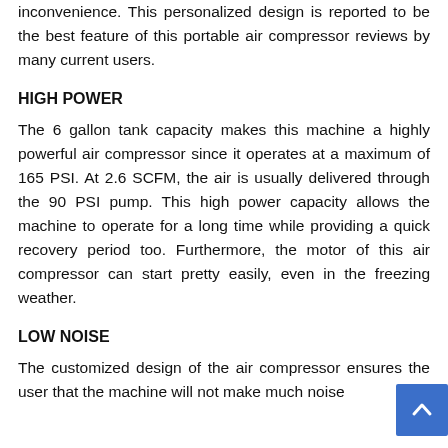inconvenience. This personalized design is reported to be the best feature of this portable air compressor reviews by many current users.
HIGH POWER
The 6 gallon tank capacity makes this machine a highly powerful air compressor since it operates at a maximum of 165 PSI. At 2.6 SCFM, the air is usually delivered through the 90 PSI pump. This high power capacity allows the machine to operate for a long time while providing a quick recovery period too. Furthermore, the motor of this air compressor can start pretty easily, even in the freezing weather.
LOW NOISE
The customized design of the air compressor ensures the user that the machine will not make much noise